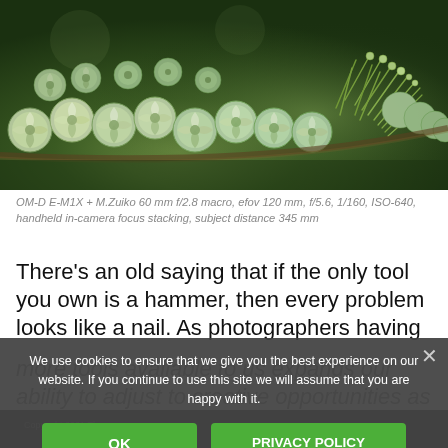[Figure (photo): Close-up macro photograph of green plant buds/seed heads on a branch tip, with a blurred green background. The buds are round and patterned, resembling a spruce or conifer branch.]
OM-D E-M1X + M.Zuiko 60 mm f/2.8 macro, efov 120 mm, f/5.6, 1/160, ISO-640, handheld in-camera focus stacking, subject distance 345 mm
There’s an old saying that if the only tool you own is a hammer, then every problem looks like a nail. As photographers having more tools available to us expands our ability to adjust to creative opportunities as they arise.
We use cookies to ensure that we give you the best experience on our website. If you continue to use this site we will assume that you are happy with it.
OK
PRIVACY POLICY